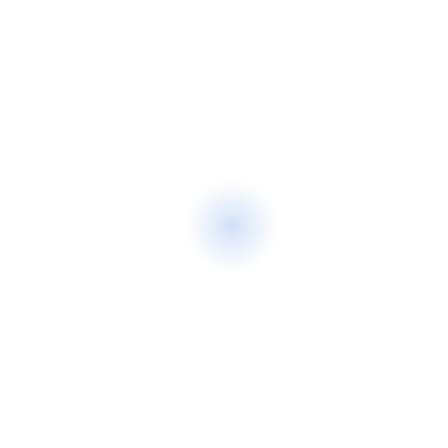[Figure (other): A light blue soft-glowing circle centered slightly left of center on an otherwise blank white page, resembling a loading spinner or decorative element.]